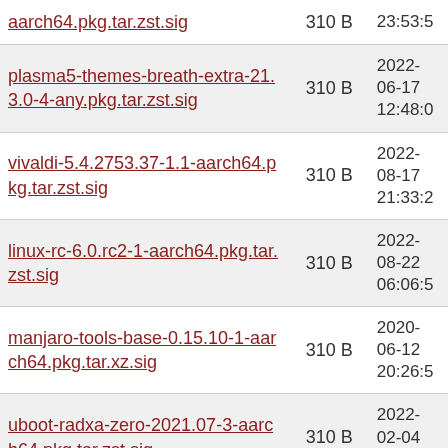| Name | Size | Date |
| --- | --- | --- |
| aarch64.pkg.tar.zst.sig | 310 B | 23:53:5 |
| plasma5-themes-breath-extra-21.3.0-4-any.pkg.tar.zst.sig | 310 B | 2022-06-17 12:48:0 |
| vivaldi-5.4.2753.37-1.1-aarch64.pkg.tar.zst.sig | 310 B | 2022-08-17 21:33:2 |
| linux-rc-6.0.rc2-1-aarch64.pkg.tar.zst.sig | 310 B | 2022-08-22 06:06:5 |
| manjaro-tools-base-0.15.10-1-aarch64.pkg.tar.xz.sig | 310 B | 2020-06-12 20:26:5 |
| uboot-radxa-zero-2021.07-3-aarch64.pkg.tar.zst.sig | 310 B | 2022-02-04 20:49:5 |
| bootsplash-theme-manjaro-0.1-3-any.pkg.tar.xz.sig | 310 B | 2020-06-26 06:29:0 |
| qt5-mce-git-1.4.2.r0.g431168d-1-aarch64.pkg.tar.zst.sig | 310 B | 2021-05-18 21:55:1 |
|  |  | 2021- |